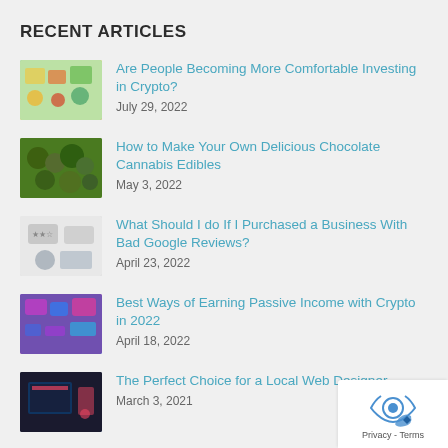RECENT ARTICLES
Are People Becoming More Comfortable Investing in Crypto? — July 29, 2022
How to Make Your Own Delicious Chocolate Cannabis Edibles — May 3, 2022
What Should I do If I Purchased a Business With Bad Google Reviews? — April 23, 2022
Best Ways of Earning Passive Income with Crypto in 2022 — April 18, 2022
The Perfect Choice for a Local Web Designer — March 3, 2021